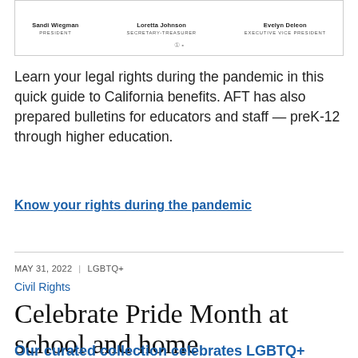[Figure (other): A framed box showing three people listed with names and titles: Sandi Wiegman (President), Loretta Johnson (Secretary-Treasurer), Evelyn Deleon (Executive Vice President), with a small icon at the bottom center.]
Learn your legal rights during the pandemic in this quick guide to California benefits. AFT has also prepared bulletins for educators and staff — preK-12 through higher education.
Know your rights during the pandemic
MAY 31, 2022  |  LGBTQ+
Civil Rights
Celebrate Pride Month at school and home
Our curated collection celebrates LGBTQ+ individuals and institutions